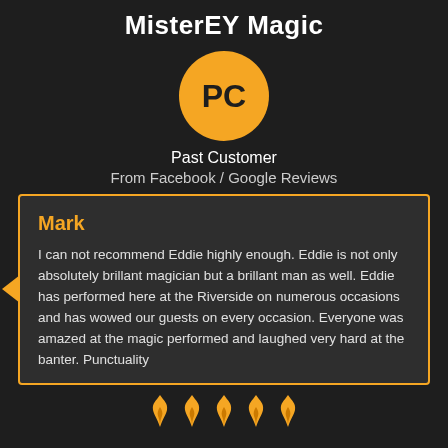MisterEY Magic
[Figure (illustration): Orange circle with initials PC (Past Customer avatar)]
Past Customer
From Facebook / Google Reviews
Mark

I can not recommend Eddie highly enough. Eddie is not only absolutely brillant magician but a brillant man as well. Eddie has performed here at the Riverside on numerous occasions and has wowed our guests on every occasion. Everyone was amazed at the magic performed and laughed very hard at the banter. Punctuality
[Figure (illustration): Row of orange flame icons at the bottom]